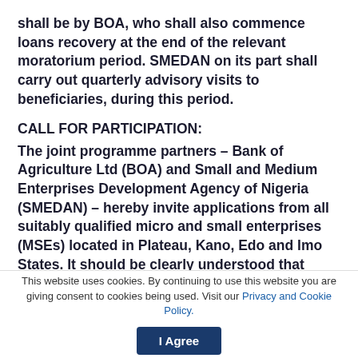shall be by BOA, who shall also commence loans recovery at the end of the relevant moratorium period. SMEDAN on its part shall carry out quarterly advisory visits to beneficiaries, during this period.
CALL FOR PARTICIPATION:
The joint programme partners – Bank of Agriculture Ltd (BOA) and Small and Medium Enterprises Development Agency of Nigeria (SMEDAN) – hereby invite applications from all suitably qualified micro and small enterprises (MSEs) located in Plateau, Kano, Edo and Imo States. It should be clearly understood that
This website uses cookies. By continuing to use this website you are giving consent to cookies being used. Visit our Privacy and Cookie Policy.